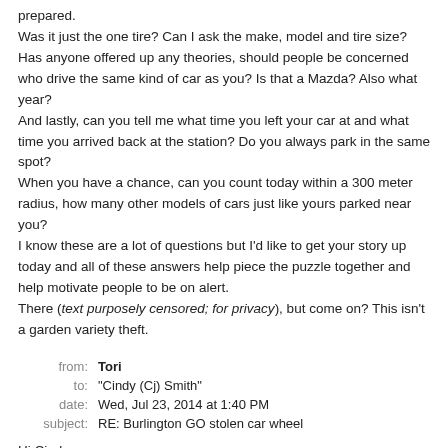prepared. Was it just the one tire? Can I ask the make, model and tire size? Has anyone offered up any theories, should people be concerned who drive the same kind of car as you? Is that a Mazda? Also what year? And lastly, can you tell me what time you left your car at and what time you arrived back at the station? Do you always park in the same spot? When you have a chance, can you count today within a 300 meter radius, how many other models of cars just like yours parked near you? I know these are a lot of questions but I'd like to get your story up today and all of these answers help piece the puzzle together and help motivate people to be on alert. There (text purposely censored; for privacy), but come on? This isn't a garden variety theft.
| field | value |
| --- | --- |
| from: | Tori |
| to: | "Cindy (Cj) Smith" |
| date: | Wed, Jul 23, 2014 at 1:40 PM |
| subject: | RE: Burlington GO stolen car wheel |
Hi Cindy,